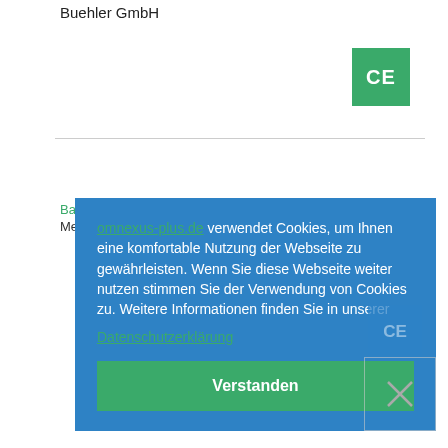Buehler GmbH
[Figure (other): CE certification badge (green square with white CE text)]
Baldwin, Tyler
Mercedes-Benz U.S.
Ballester Aman, Sergio
Sothis SA
[Figure (screenshot): Cookie consent overlay popup with blue background. Text: 'omnexus-plus.de verwendet Cookies, um Ihnen eine komfortable Nutzung der Webseite zu gewährleisten. Wenn Sie diese Webseite weiter nutzen stimmen Sie der Verwendung von Cookies zu. Weitere Informationen finden Sie in unserer Datenschutzerklärung' with a green 'Verstanden' button at the bottom.]